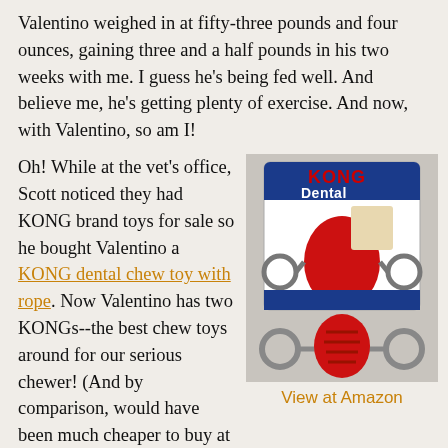Valentino weighed in at fifty-three pounds and four ounces, gaining three and a half pounds in his two weeks with me. I guess he's being fed well. And believe me, he's getting plenty of exercise. And now, with Valentino, so am I!
Oh! While at the vet's office, Scott noticed they had KONG brand toys for sale so he bought Valentino a KONG dental chew toy with rope. Now Valentino has two KONGs--the best chew toys around for our serious chewer! (And by comparison, would have been much cheaper to buy at Amazon, oh my!)
[Figure (photo): KONG Dental dog chew toy with rope product packaging photo]
View at Amazon
On the way home, we stopped at the local grocery to inquire about femur bones for dogs. Unfortunately--no good butcher bones at all in the store. (Roommate Scott assured me he'll take on the job of locating good raw meat bones for